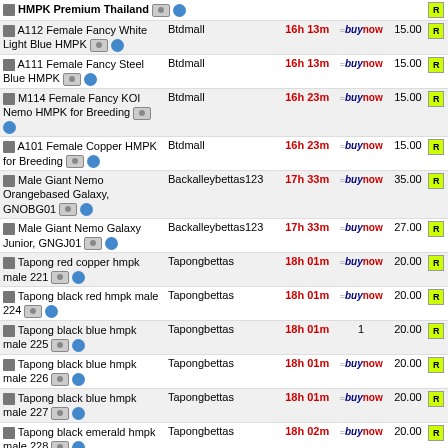| Title | Seller | Time | Buy Now | Price | R |
| --- | --- | --- | --- | --- | --- |
| HMPK Premium Thailand |  |  |  |  | R |
| A112 Female Fancy White Light Blue HMPK | Btdmall | 16h 13m | buy now | 15.00 | R |
| A111 Female Fancy Steel Blue HMPK | Btdmall | 16h 13m | buy now | 15.00 | R |
| M114 Female Fancy KOI Nemo HMPK for Breeding | Btdmall | 16h 23m | buy now | 15.00 | R |
| A101 Female Copper HMPK for Breeding | Btdmall | 16h 23m | buy now | 15.00 | R |
| Male Giant Nemo Orangebased Galaxy, GNOBG01 | Backalleybettas123 | 17h 33m | buy now | 35.00 | R |
| Male Giant Nemo Galaxy Junior, GNGJ01 | Backalleybettas123 | 17h 33m | buy now | 27.00 | R |
| Tapong red copper hmpk male 221 | Tapongbettas | 18h 01m | buy now | 20.00 | R |
| Tapong black red hmpk male 224 | Tapongbettas | 18h 01m | buy now | 20.00 | R |
| Tapong black blue hmpk male 225 | Tapongbettas | 18h 01m | 1 | 20.00 | R |
| Tapong black blue hmpk male 226 | Tapongbettas | 18h 01m | buy now | 20.00 | R |
| Tapong black blue hmpk male 227 | Tapongbettas | 18h 01m | buy now | 20.00 | R |
| Tapong black emerald hmpk male 228 | Tapongbettas | 18h 02m | buy now | 20.00 | R |